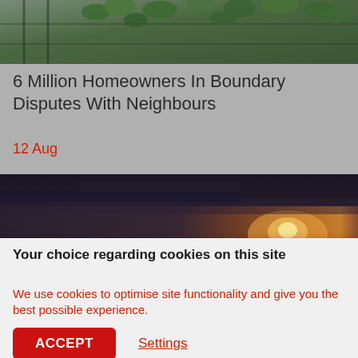[Figure (photo): Partial view of building facade with green leaves/vegetation and a metal fence structure, cropped at top]
6 Million Homeowners In Boundary Disputes With Neighbours
12 Aug
[Figure (photo): Cityscape at dusk/sunset with orange and dark purple sky over a sprawling urban area]
Your choice regarding cookies on this site
We use cookies to optimise site functionality and give you the best possible experience.
ACCEPT
Settings